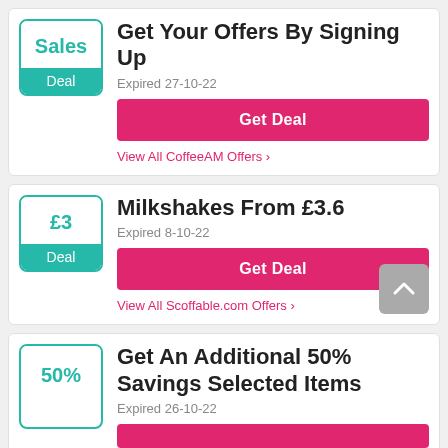Get Your Offers By Signing Up
Expired 27-10-22
Get Deal
View All CoffeeAM Offers
Milkshakes From £3.6
Expired 8-10-22
Get Deal
View All Scoffable.com Offers
Get An Additional 50% Savings Selected Items
Expired 26-10-22